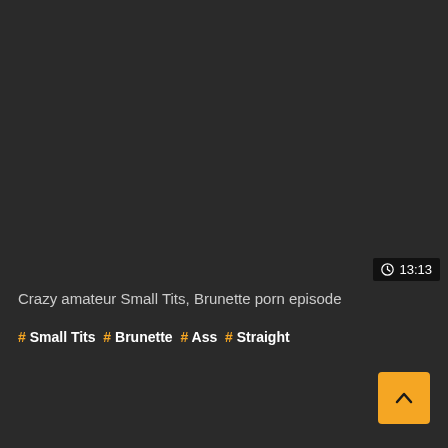[Figure (other): Dark video thumbnail placeholder area, mostly black/dark gray background]
🕐 13:13
Crazy amateur Small Tits, Brunette porn episode
# Small Tits # Brunette # Ass # Straight